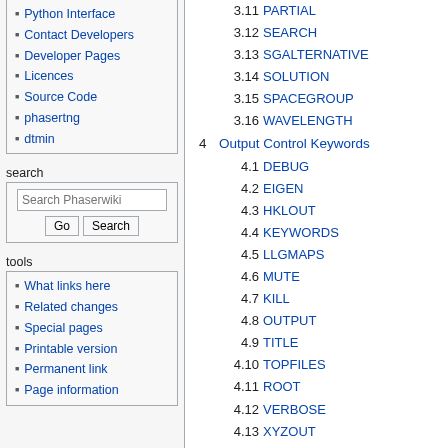Python Interface
Contact Developers
Developer Pages
Licences
Source Code
phasertng
dtmin
search
Search Phaserwiki
tools
What links here
Related changes
Special pages
Printable version
Permanent link
Page information
3.11 PARTIAL
3.12 SEARCH
3.13 SGALTERNATIVE
3.14 SOLUTION
3.15 SPACEGROUP
3.16 WAVELENGTH
4 Output Control Keywords
4.1 DEBUG
4.2 EIGEN
4.3 HKLOUT
4.4 KEYWORDS
4.5 LLGMAPS
4.6 MUTE
4.7 KILL
4.8 OUTPUT
4.9 TITLE
4.10 TOPFILES
4.11 ROOT
4.12 VERBOSE
4.13 XYZOUT
5 Advanced Keywords
5.1 ELLG